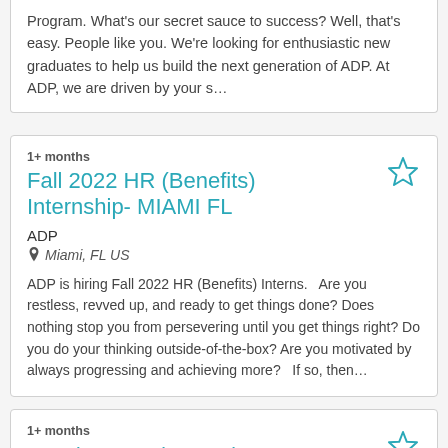Program. What's our secret sauce to success? Well, that's easy. People like you. We're looking for enthusiastic new graduates to help us build the next generation of ADP. At ADP, we are driven by your s...
1+ months
Fall 2022 HR (Benefits) Internship- MIAMI FL
ADP
Miami, FL US
ADP is hiring Fall 2022 HR (Benefits) Interns.   Are you restless, revved up, and ready to get things done? Does nothing stop you from persevering until you get things right? Do you do your thinking outside-of-the-box? Are you motivated by always progressing and achieving more?   If so, then...
1+ months
People Reporting Analyst (HRIS Analyst)